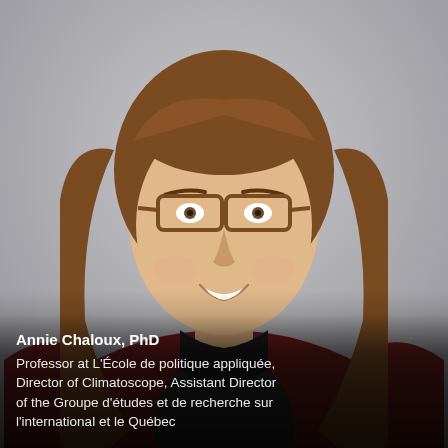[Figure (photo): Professional headshot of Annie Chaloux, PhD — a woman with long brown hair, wearing glasses with tortoise-shell frames, a dark collared shirt, and a dark red/burgundy blazer. She is smiling. Background is a neutral light grey.]
Annie Chaloux, PhD
Professor at L'École de politique appliquée, Director of Climatoscope, Assistant Director of the Groupe d'études et de recherche sur l'international et le Québec